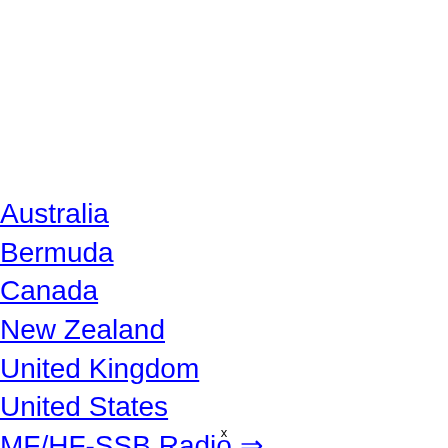Australia
Bermuda
Canada
New Zealand
United Kingdom
United States
MF/HF-SSB Radio ⇒
Intro to HF-SSB Radio
MF/HF-SSB Distress
MF/HF-SSB Simplex
HF-SSB Radio Channel...
x